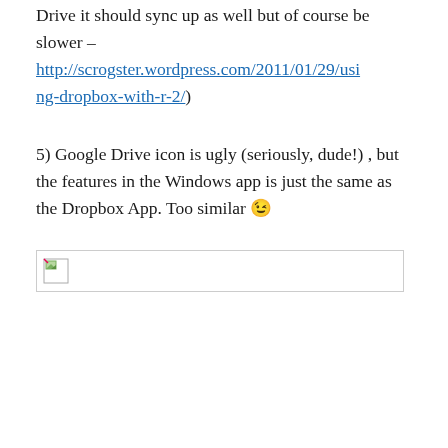Drive it should sync up as well but of course be slower – http://scrogster.wordpress.com/2011/01/29/using-dropbox-with-r-2/)
5) Google Drive icon is ugly (seriously, dude!) , but the features in the Windows app is just the same as the Dropbox App. Too similar 😉
[Figure (photo): Broken/placeholder image with small broken image icon on left, shown as a bordered rectangle]